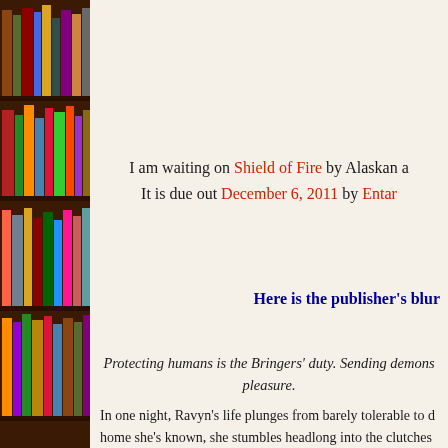[Figure (photo): Bookshelf with colorful books on the left side of the page]
[Figure (photo): Book cover partially visible in top right corner]
I am waiting on Shield of Fire by Alaskan a... It is due out December 6, 2011 by Entar...
Here is the publisher's blur...
Protecting humans is the Bringers' duty. Sending demons... pleasure.
In one night, Ravyn's life plunges from barely tolerable to d... home she's known, she stumbles headlong into the clutches... intent on stealing her powers. Unfortunately for him, she ha...
When Rhys realizes the woman he's rescued from the Bane... obligation as a Bringer dictates he protect and train her in th...